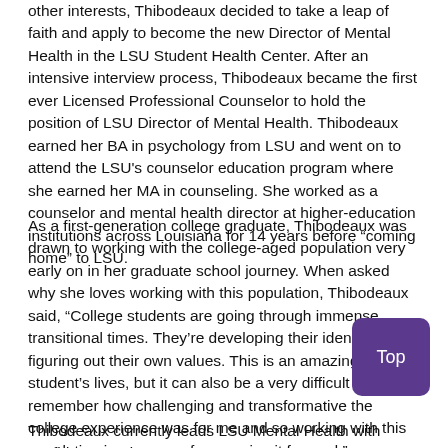other interests, Thibodeaux decided to take a leap of faith and apply to become the new Director of Mental Health in the LSU Student Health Center. After an intensive interview process, Thibodeaux became the first ever Licensed Professional Counselor to hold the position of LSU Director of Mental Health. Thibodeaux earned her BA in psychology from LSU and went on to attend the LSU's counselor education program where she earned her MA in counseling. She worked as a counselor and mental health director at higher-education institutions across Louisiana for 14 years before “coming home” to LSU.
As a first-generation college graduate, Thibodeaux was drawn to working with the college-aged population very early on in her graduate school journey. When asked why she loves working with this population, Thibodeaux said, “College students are going through immense transitional times. They’re developing their identity and figuring out their own values. This is an amazing time in student’s lives, but it can also be a very difficult one. I remember how challenging and transformative the college experience was for me and so working with this population is one way of me paying it forward.”
Thibodeaux currently leads LSU Mental Health with confidence and